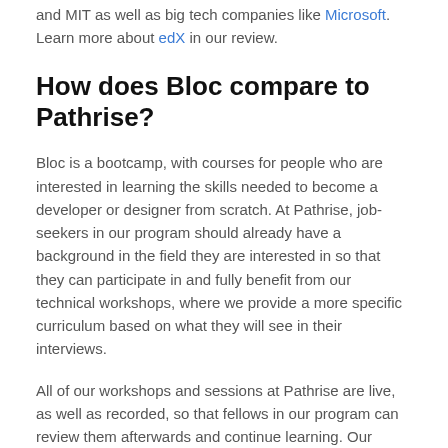and MIT as well as big tech companies like Microsoft. Learn more about edX in our review.
How does Bloc compare to Pathrise?
Bloc is a bootcamp, with courses for people who are interested in learning the skills needed to become a developer or designer from scratch. At Pathrise, job-seekers in our program should already have a background in the field they are interested in so that they can participate in and fully benefit from our technical workshops, where we provide a more specific curriculum based on what they will see in their interviews.
All of our workshops and sessions at Pathrise are live, as well as recorded, so that fellows in our program can review them afterwards and continue learning. Our program is flexible, with only 4 hours of group sessions